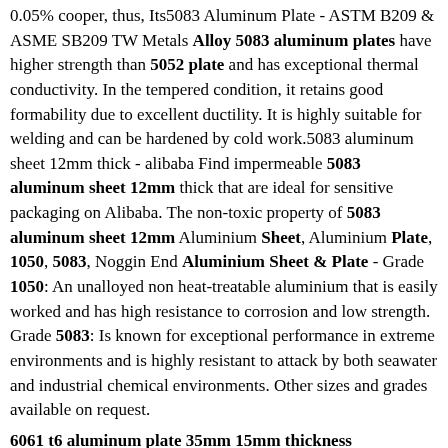0.05% cooper, thus, Its5083 Aluminum Plate - ASTM B209 & ASME SB209 TW Metals Alloy 5083 aluminum plates have higher strength than 5052 plate and has exceptional thermal conductivity. In the tempered condition, it retains good formability due to excellent ductility. It is highly suitable for welding and can be hardened by cold work.5083 aluminum sheet 12mm thick - alibaba Find impermeable 5083 aluminum sheet 12mm thick that are ideal for sensitive packaging on Alibaba. The non-toxic property of 5083 aluminum sheet 12mm Aluminium Sheet, Aluminium Plate, 1050, 5083, Noggin End Aluminium Sheet & Plate - Grade 1050: An unalloyed non heat-treatable aluminium that is easily worked and has high resistance to corrosion and low strength. Grade 5083: Is known for exceptional performance in extreme environments and is highly resistant to attack by both seawater and industrial chemical environments. Other sizes and grades available on request.
6061 t6 aluminum plate 35mm 15mm thickness
Aluminum Sheet 15mm Thick - newest price custom thickness